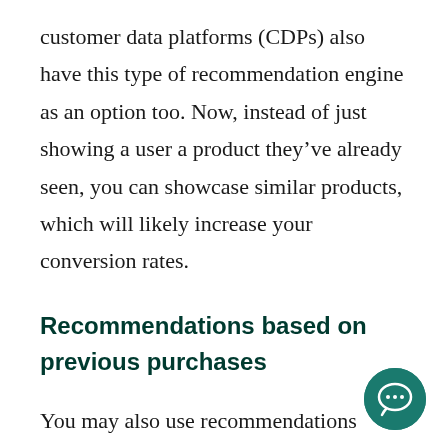customer data platforms (CDPs) also have this type of recommendation engine as an option too. Now, instead of just showing a user a product they've already seen, you can showcase similar products, which will likely increase your conversion rates.
Recommendations based on previous purchases
You may also use recommendations based on what a customer has purchased in the